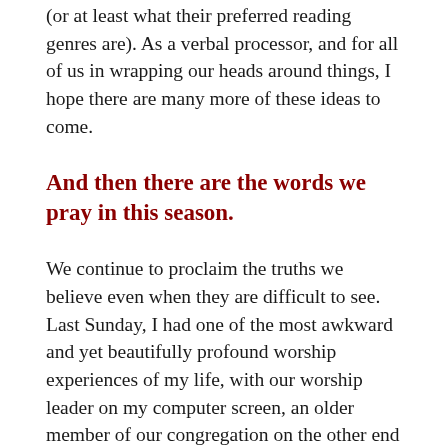(or at least what their preferred reading genres are). As a verbal processor, and for all of us in wrapping our heads around things, I hope there are many more of these ideas to come.
And then there are the words we pray in this season.
We continue to proclaim the truths we believe even when they are difficult to see. Last Sunday, I had one of the most awkward and yet beautifully profound worship experiences of my life, with our worship leader on my computer screen, an older member of our congregation on the other end of my phone, and me in my living room, all singing out of sync, and yet affirming the same words of hope and truth about the Cornerstone in whom we find hope through the storm. I'm intrigued that Nigerian singer Sinach's Waymaker went 'viral' among churches in the months leading up to this season, with its declaration of a promise-keeping God who